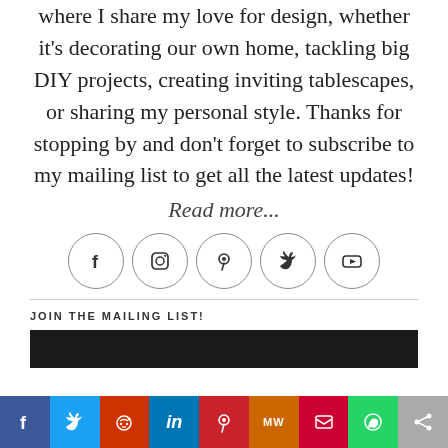where I share my love for design, whether it's decorating our own home, tackling big DIY projects, creating inviting tablescapes, or sharing my personal style. Thanks for stopping by and don't forget to subscribe to my mailing list to get all the latest updates!
Read more...
[Figure (other): Row of five social media circle icon buttons: Facebook, Instagram, Pinterest, Twitter, YouTube]
JOIN THE MAILING LIST!
[Figure (other): Dark email input bar for mailing list signup]
[Figure (other): Social share bar with colored buttons: Facebook, Twitter, Reddit, LinkedIn, Pinterest, MeWe, Mix, WhatsApp, Share]